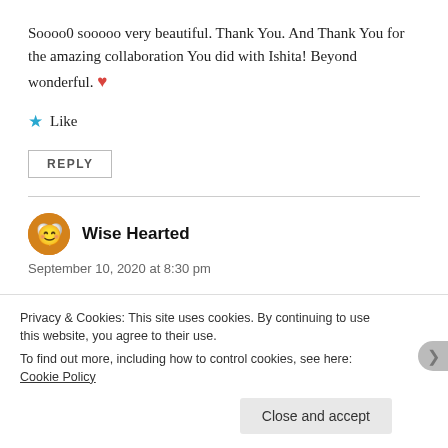Soooo0 sooooo very beautiful. Thank You. And Thank You for the amazing collaboration You did with Ishita! Beyond wonderful. ❤️
★ Like
REPLY
Wise Hearted
September 10, 2020 at 8:30 pm
Putting his best foot first ...I started a conversation today
Privacy & Cookies: This site uses cookies. By continuing to use this website, you agree to their use.
To find out more, including how to control cookies, see here: Cookie Policy
Close and accept